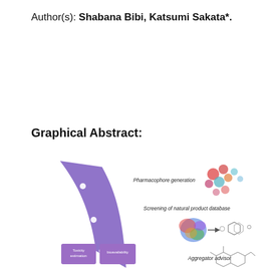Author(s): Shabana Bibi, Katsumi Sakata*.
Graphical Abstract:
[Figure (infographic): Graphical abstract infographic showing a pharmacophore generation pipeline. A curved purple band sweeps from upper-left to lower-right, with labeled steps: (1) Pharmacophore generation with molecular model clusters in pink/red/teal; (2) Screening of natural product database with a colored protein structure and hexagonal molecular structure; (3) Aggregator advisor with a chemical structure diagram. In the lower-left, two purple boxes labeled 'Toxicity estimation' and 'bioavailability'.]